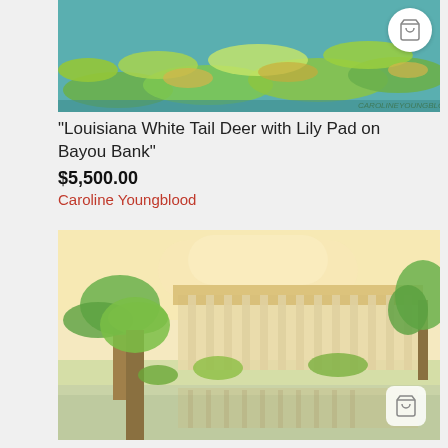[Figure (illustration): Top portion of a painting showing lily pads on water with green and yellow foliage, by Caroline Youngblood. A shopping cart icon is visible in the upper right corner.]
"Louisiana White Tail Deer with Lily Pad on Bayou Bank"
$5,500.00
Caroline Youngblood
[Figure (illustration): Watercolor painting of a large columned building or pavilion reflected in water, surrounded by palm trees and lush greenery, with a warm yellow sky. A shopping cart icon is in the lower right corner.]